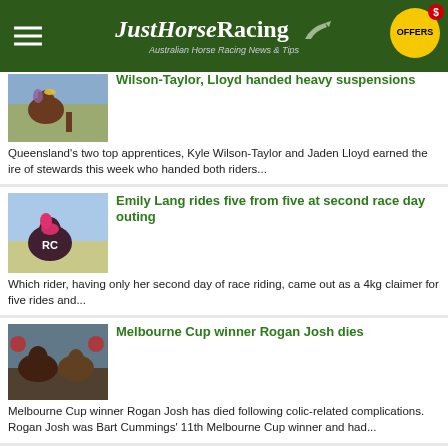JustHorseRacing – Australian Horse Racing News & Tips
[Figure (photo): Jockey on horse thumbnail (partial, cropped at top)]
Wilson-Taylor, Lloyd handed heavy suspensions
Queensland's two top apprentices, Kyle Wilson-Taylor and Jaden Lloyd earned the ire of stewards this week who handed both riders...
[Figure (photo): Jockey in pink silks on horse at race track]
Emily Lang rides five from five at second race day outing
Which rider, having only her second day of race riding, came out as a 4kg claimer for five rides and...
[Figure (photo): Two horses racing, Melbourne Cup related image]
Melbourne Cup winner Rogan Josh dies
Melbourne Cup winner Rogan Josh has died following colic-related complications. Rogan Josh was Bart Cummings' 11th Melbourne Cup winner and had...
[Figure (logo): Bookmaker Reviews logo – gold stars on black background]
Australian Bookmaker Reviews
Which bookmaker should you bet with? We Review each of the leading online Australian Bookmakers and rate them in order...